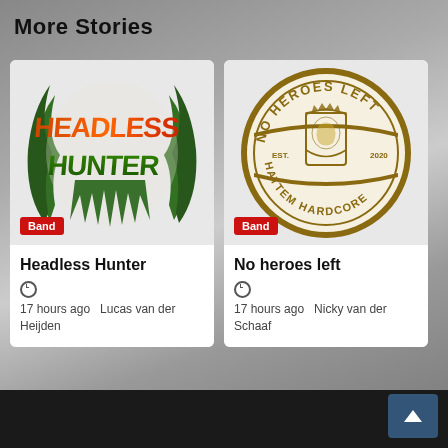More Stories
[Figure (logo): Headless Hunter band logo - stylized orange and green gothic lettering with tribal/flame design]
Band
Headless Hunter
17 hours ago  Lucas van der Heijden
[Figure (logo): No Heroes Left band logo - circular badge/crest design with gold/brown colors, lion shield, text 'NO HEROES LEFT', 'HATTEM HARDCORE', 'EST. 2020']
Band
No heroes left
17 hours ago  Nicky van der Schaaf